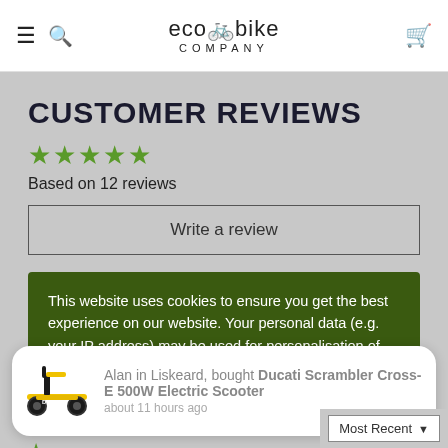ecobike COMPANY
CUSTOMER REVIEWS
[Figure (other): Five green star rating icons]
Based on 12 reviews
Write a review
This website uses cookies to ensure you get the best experience on our website. Your personal data (e.g. your IP address) may be used for personalisation of ads. Learn more about how we use cookies.
Alan in Liskeard, bought Ducati Scrambler Cross-E 500W Electric Scooter about 11 hours ago
Most Recent